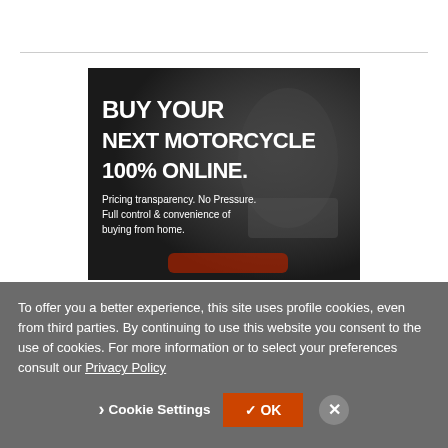[Figure (photo): Dark motorcycle advertisement image with rider in background. Large bold white text reads: BUY YOUR NEXT MOTORCYCLE 100% ONLINE. Subtext: Pricing transparency. No Pressure. Full control & convenience of buying from home.]
To offer you a better experience, this site uses profile cookies, even from third parties. By continuing to use this website you consent to the use of cookies. For more information or to select your preferences consult our Privacy Policy